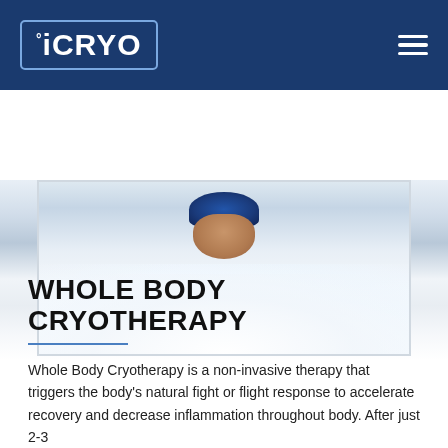[Figure (logo): iCRYO logo in white text inside a rounded rectangle border on dark blue background header bar, with hamburger menu icon on the right]
[Figure (photo): Person standing in a cryotherapy chamber visible from the shoulders up, wearing a blue head covering, surrounded by white mist/vapor from the cryotherapy treatment]
WHOLE BODY CRYOTHERAPY
Whole Body Cryotherapy is a non-invasive therapy that triggers the body's natural fight or flight response to accelerate recovery and decrease inflammation throughout body. After just 2-3